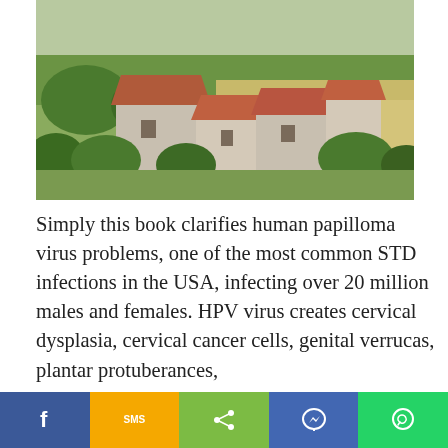[Figure (photo): Aerial/elevated photograph of old stone buildings with red-tiled roofs in a rural landscape with green fields and trees]
Simply this book clarifies human papilloma virus problems, one of the most common STD infections in the USA, infecting over 20 million males and females. HPV virus creates cervical dysplasia, cervical cancer cells, genital verrucas, plantar protuberances,